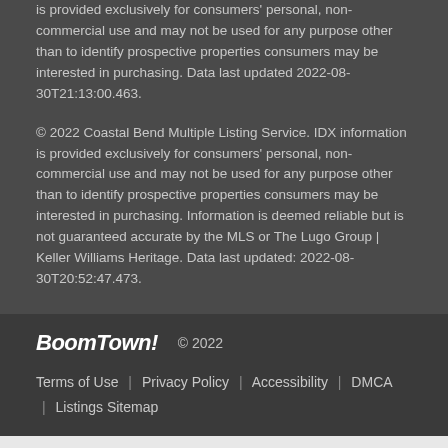is provided exclusively for consumers' personal, non-commercial use and may not be used for any purpose other than to identify prospective properties consumers may be interested in purchasing. Data last updated 2022-08-30T21:13:00.463.
© 2022 Coastal Bend Multiple Listing Service. IDX information is provided exclusively for consumers' personal, non-commercial use and may not be used for any purpose other than to identify prospective properties consumers may be interested in purchasing. Information is deemed reliable but is not guaranteed accurate by the MLS or The Lugo Group | Keller Williams Heritage. Data last updated: 2022-08-30T20:52:47.473.
BoomTown! © 2022
Terms of Use | Privacy Policy | Accessibility | DMCA | Listings Sitemap
Back to Results